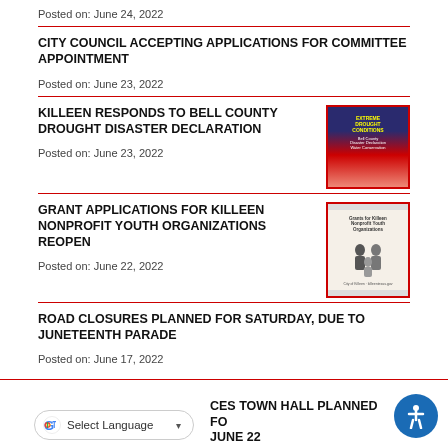Posted on: June 24, 2022
CITY COUNCIL ACCEPTING APPLICATIONS FOR COMMITTEE APPOINTMENT
Posted on: June 23, 2022
KILLEEN RESPONDS TO BELL COUNTY DROUGHT DISASTER DECLARATION
Posted on: June 23, 2022
[Figure (photo): Drought disaster declaration flyer with dark blue and red background and yellow/white text]
GRANT APPLICATIONS FOR KILLEEN NONPROFIT YOUTH ORGANIZATIONS REOPEN
Posted on: June 22, 2022
[Figure (photo): Youth grant flyer with silhouette of adults and child, light beige background]
ROAD CLOSURES PLANNED FOR SATURDAY, DUE TO JUNETEENTH PARADE
Posted on: June 17, 2022
CES TOWN HALL PLANNED FOR JUNE 22